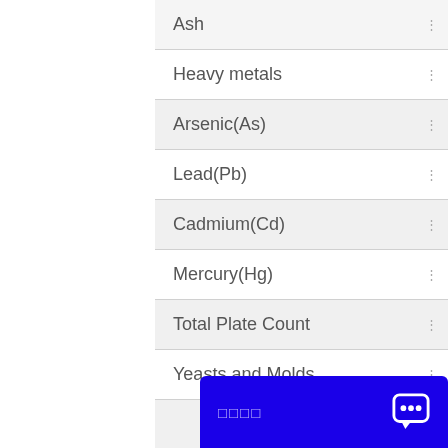| Ash |  |
| Heavy metals |  |
| Arsenic(As) |  |
| Lead(Pb) |  |
| Cadmium(Cd) |  |
| Mercury(Hg) |  |
| Total Plate Count |  |
| Yeasts and Molds |  |
|  |  |